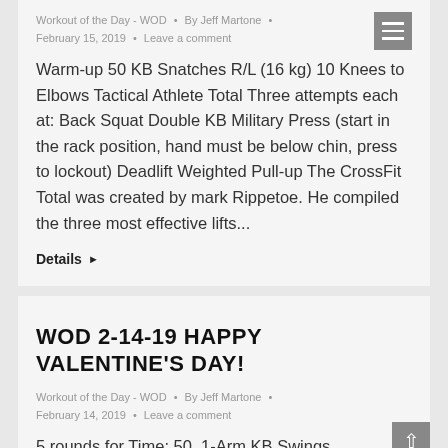Workout of the Day - WOD • By Jeff Martone • February 15, 2019 • Leave a comment
Warm-up 50 KB Snatches R/L (16 kg) 10 Knees to Elbows Tactical Athlete Total Three attempts each at: Back Squat Double KB Military Press (start in the rack position, hand must be below chin, press to lockout) Deadlift Weighted Pull-up The CrossFit Total was created by mark Rippetoe. He compiled the three most effective lifts...
Details ▶
WOD 2-14-19 HAPPY VALENTINE'S DAY!
Workout of the Day - WOD • By Jeff Martone • February 14, 2019 • Leave a comment
5 rounds for Time: 50  1-Arm KB Swings